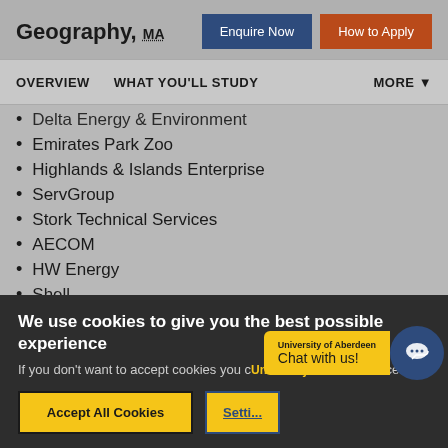Geography, MA
OVERVIEW   WHAT YOU'LL STUDY   MORE
Delta Energy & Environment
Emirates Park Zoo
Highlands & Islands Enterprise
ServGroup
Stork Technical Services
AECOM
HW Energy
Shell
Scottish Environment Protection Agency
We use cookies to give you the best possible experience
If you don't want to accept cookies you can change your preferences.